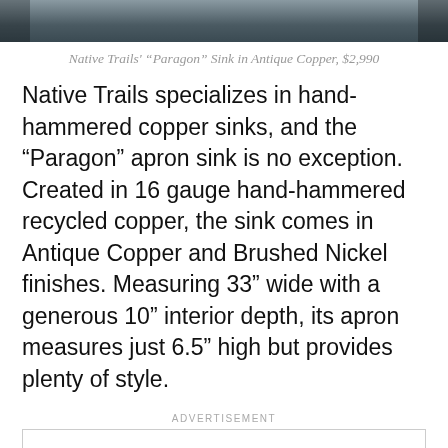[Figure (photo): Top portion of a photograph showing a Native Trails Paragon sink in Antique Copper, grey-toned kitchen cabinetry visible]
Native Trails' “Paragon” Sink in Antique Copper, $2,990
Native Trails specializes in hand-hammered copper sinks, and the “Paragon” apron sink is no exception. Created in 16 gauge hand-hammered recycled copper, the sink comes in Antique Copper and Brushed Nickel finishes. Measuring 33” wide with a generous 10” interior depth, its apron measures just 6.5” high but provides plenty of style.
ADVERTISEMENT
[Figure (other): Empty advertisement box with border]